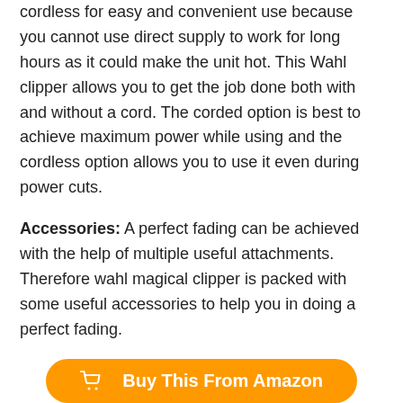cordless for easy and convenient use because you cannot use direct supply to work for long hours as it could make the unit hot. This Wahl clipper allows you to get the job done both with and without a cord. The corded option is best to achieve maximum power while using and the cordless option allows you to use it even during power cuts.
Accessories: A perfect fading can be achieved with the help of multiple useful attachments. Therefore wahl magical clipper is packed with some useful accessories to help you in doing a perfect fading.
[Figure (other): Orange rounded button with shopping cart icon and text 'Buy This From Amazon']
It includes
The clipper